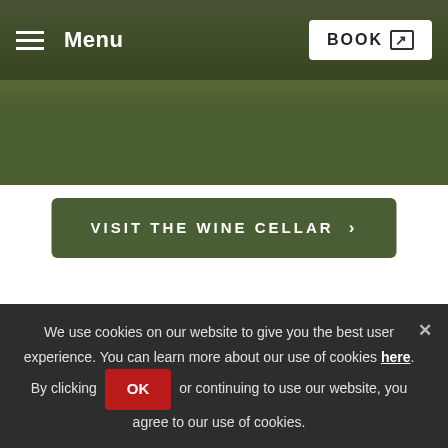[Figure (screenshot): Website screenshot showing a golf course or estate aerial photo with green grass, overlaid with a dark navigation header bar containing a hamburger menu icon, 'Menu' label, and a 'BOOK' button with external link icon.]
Menu   BOOK
VISIT THE WINE CELLAR >
Keeping you safe
Safety remains our top priority. From adhering to
We use cookies on our website to give you the best user experience. You can learn more about our use of cookies here. By clicking OK or continuing to use our website, you agree to our use of cookies.